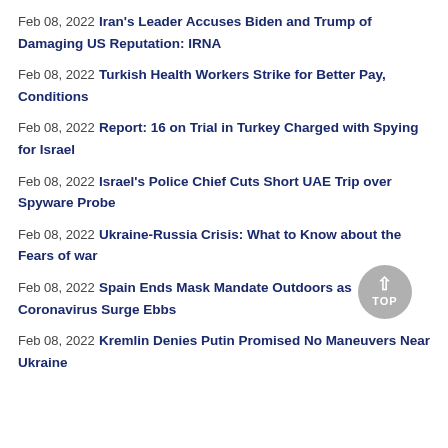Feb 08, 2022 Iran's Leader Accuses Biden and Trump of Damaging US Reputation: IRNA
Feb 08, 2022 Turkish Health Workers Strike for Better Pay, Conditions
Feb 08, 2022 Report: 16 on Trial in Turkey Charged with Spying for Israel
Feb 08, 2022 Israel's Police Chief Cuts Short UAE Trip over Spyware Probe
Feb 08, 2022 Ukraine-Russia Crisis: What to Know about the Fears of war
Feb 08, 2022 Spain Ends Mask Mandate Outdoors as Coronavirus Surge Ebbs
Feb 08, 2022 Kremlin Denies Putin Promised No Maneuvers Near Ukraine